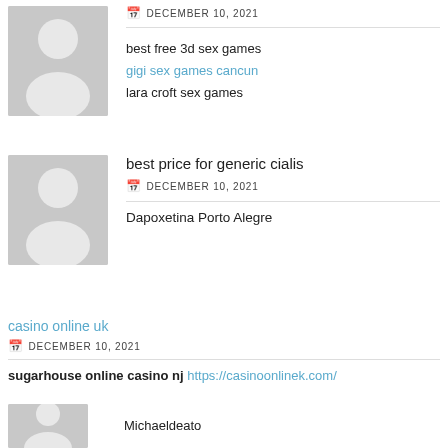[Figure (illustration): Gray placeholder avatar silhouette icon at top left]
DECEMBER 10, 2021
best free 3d sex games
gigi sex games cancun
lara croft sex games
[Figure (illustration): Gray placeholder avatar silhouette icon, second row]
best price for generic cialis
DECEMBER 10, 2021
Dapoxetina Porto Alegre
casino online uk
DECEMBER 10, 2021
sugarhouse online casino nj https://casinoonlinek.com/
[Figure (illustration): Gray placeholder avatar silhouette icon, bottom row]
Michaeldeato